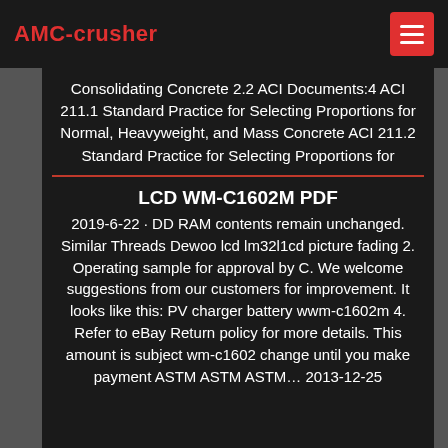AMC-crusher
Consolidating Concrete 2.2 ACI Documents:4 ACI 211.1 Standard Practice for Selecting Proportions for Normal, Heavyweight, and Mass Concrete ACI 211.2 Standard Practice for Selecting Proportions for
LCD WM-C1602M PDF
2019-6-22 · DD RAM contents remain unchanged. Similar Threads Dewoo lcd lm32l1cd picture fading 2. Operating sample for approval by C. We welcome suggestions from our customers for improvement. It looks like this: PV charger battery wwm-c1602m 4. Refer to eBay Return policy for more details. This amount is subject wm-c1602 change until you make payment ASTM ASTM ASTM… 2013-12-25